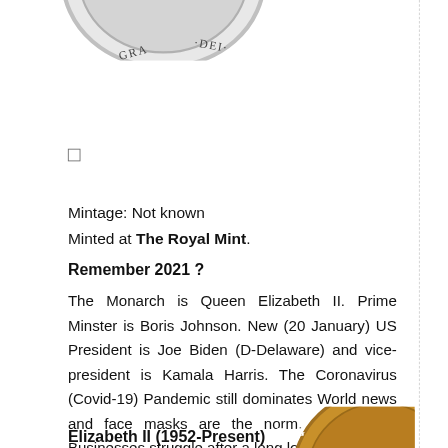[Figure (photo): Partial view of a coin showing text 'GRA DEI' around the rim, silver coloured, cropped at the top of the page]
Mintage: Not known
Minted at The Royal Mint.
Remember 2021 ?
The Monarch is Queen Elizabeth II. Prime Minster is Boris Johnson. New (20 January) US President is Joe Biden (D-Delaware) and vice-president is Kamala Harris. The Coronavirus (Covid-19) Pandemic still dominates World news and face masks are the norm. People and Businesses struggle after a long lockdown.
Elizabeth II (1952-Present)
Queen Elizabeth II is the
[Figure (photo): Partial view of a gold/brown coin showing text 'D G' around the rim, cropped at bottom right of page]